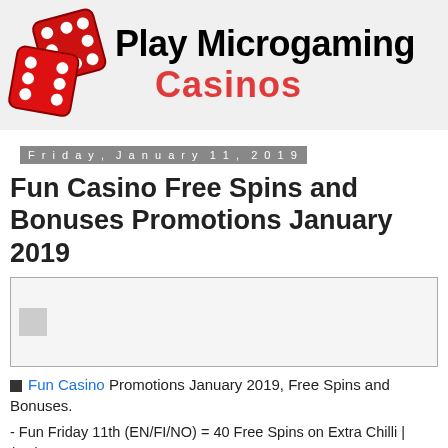[Figure (logo): Play Microgaming Casinos logo with red dice and bold text]
Friday, January 11, 2019
Fun Casino Free Spins and Bonuses Promotions January 2019
[Figure (other): Advertisement placeholder box with small grey square icon]
Fun Casino Promotions January 2019, Free Spins and Bonuses.
- Fun Friday 11th (EN/FI/NO) = 40 Free Spins on Extra Chilli | (DE) = 25% Bonus up to 50.